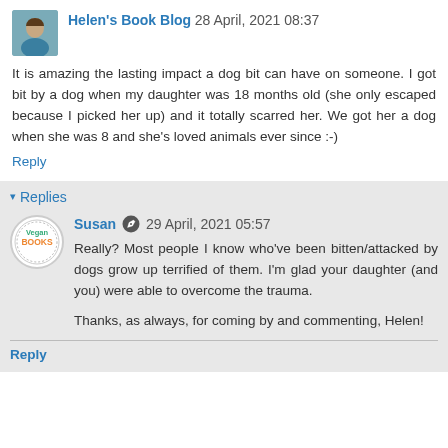Helen's Book Blog 28 April, 2021 08:37
It is amazing the lasting impact a dog bit can have on someone. I got bit by a dog when my daughter was 18 months old (she only escaped because I picked her up) and it totally scarred her. We got her a dog when she was 8 and she's loved animals ever since :-)
Reply
Replies
Susan 29 April, 2021 05:57
Really? Most people I know who've been bitten/attacked by dogs grow up terrified of them. I'm glad your daughter (and you) were able to overcome the trauma.

Thanks, as always, for coming by and commenting, Helen!
Reply